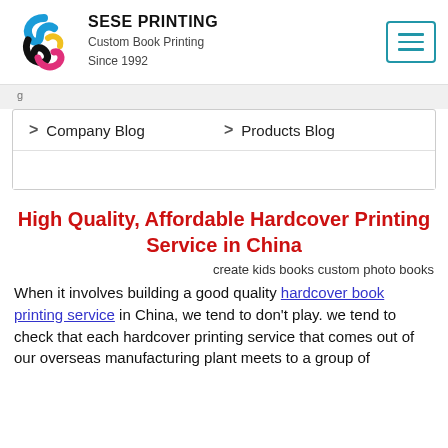SESE PRINTING
Custom Book Printing
Since 1992
Company Blog   Products Blog
High Quality, Affordable Hardcover Printing Service in China
create kids books custom photo books
When it involves building a good quality hardcover book printing service in China, we tend to don't play. we tend to check that each hardcover printing service that comes out of our overseas manufacturing plant meets to a group of